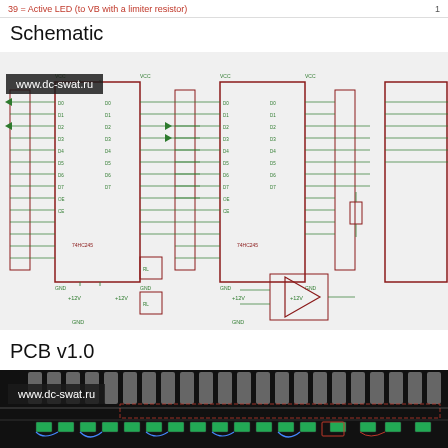39 = Active LED (to VB with a limiter resistor)   1
Schematic
[Figure (schematic): Electronic schematic showing multiple ICs with interconnecting nets, power rails, and signal lines. Includes logic ICs, buffers, connector symbols, and an op-amp/comparator block. Watermark: www.dc-swat.ru]
PCB v1.0
[Figure (engineering-diagram): PCB layout top view showing a row of through-hole connectors/headers along the top edge, surface mount components, and routing traces. Black background with grey pads and red/blue traces. Watermark: www.dc-swat.ru]